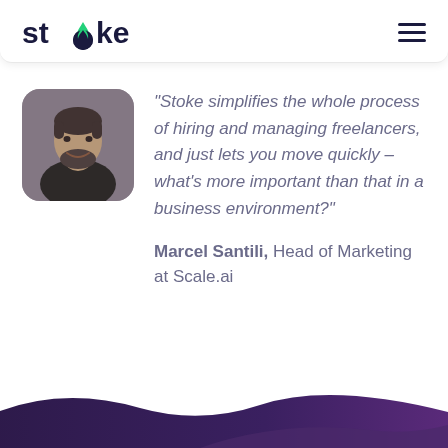[Figure (logo): Stoke logo with flame icon replacing the letter 'o', dark navy text]
[Figure (photo): Headshot of Marcel Santili, a man with a beard, smiling, rounded square crop]
"Stoke simplifies the whole process of hiring and managing freelancers, and just lets you move quickly – what's more important than that in a business environment?"
Marcel Santili, Head of Marketing at Scale.ai